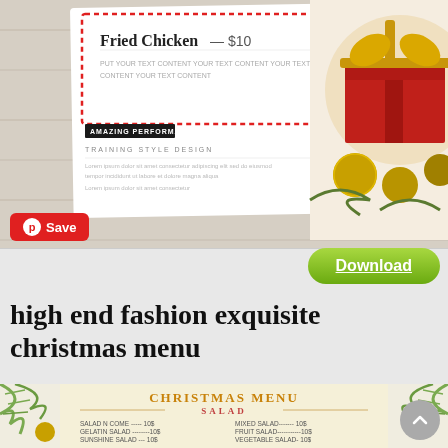[Figure (screenshot): Top portion showing a Christmas menu template preview with fried chicken item at $10, decorative red dotted border, and holiday decorations including gold ornaments and gift box on a wooden background.]
Save
Download
high end fashion exquisite christmas menu
[Figure (screenshot): Bottom portion of a Christmas menu template showing 'CHRISTMAS MENU' in gold decorative text, SALAD section header, and menu items: Salad N Come 10$ Mixed Salad 10$, Gelatin Salad 10$ Fruit Salad 10$, Sunshine Salad 10$ Vegetable Salad 10$, Waldorf Salad 10$ Tossed Salad 10$, and MAIN COURSE header, with pine branches and gold ornament decorations.]